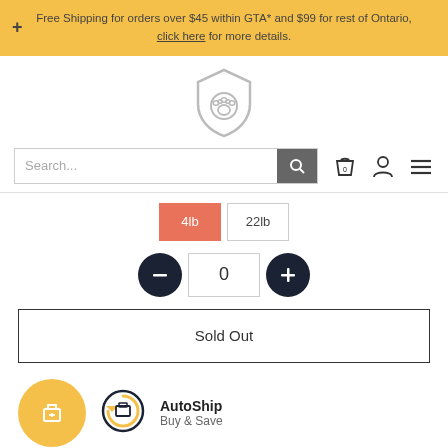Free Shipping for orders over $45 within GTA* and $99 for rest of Ontario, click here for more details.
[Figure (logo): Shield logo with paw print inside]
[Figure (screenshot): Search bar with magnifying glass icon, shopping bag icon with 0, user icon, hamburger menu icon]
4lb
22lb
0
Sold Out
[Figure (logo): Yellow circle with gift box icon]
[Figure (logo): AutoShip circular arrow icon with box]
AutoShip Buy & Save